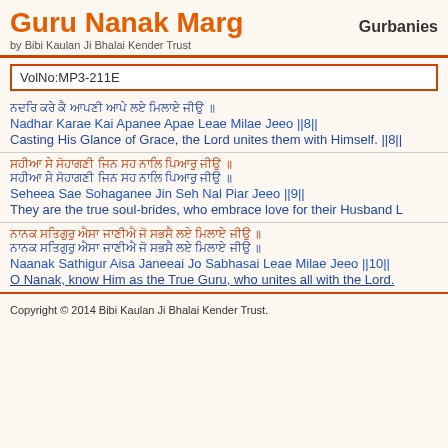Guru Nanak Marg
by Bibi Kaulan Ji Bhalai Kender Trust
Gurbanies
VolNo:MP3-211E
[Gurmukhi script line 1]
Nadhar Karae Kai Apanee Apae Leae Milae Jeeo ||8||
Casting His Glance of Grace, the Lord unites them with Himself. ||8||
[Gurmukhi script line red 1]
[Gurmukhi script line blue 1]
Seheea Sae Sohaganee Jin Seh Nal Piar Jeeo ||9||
They are the true soul-brides, who embrace love for their Husband L
[Gurmukhi script line red 2]
[Gurmukhi script line blue 2]
Naanak Sathigur Aisa Janeeai Jo Sabhasai Leae Milae Jeeo ||10||
O Nanak, know Him as the True Guru, who unites all with the Lord.
Copyright © 2014 Bibi Kaulan Ji Bhalai Kender Trust.